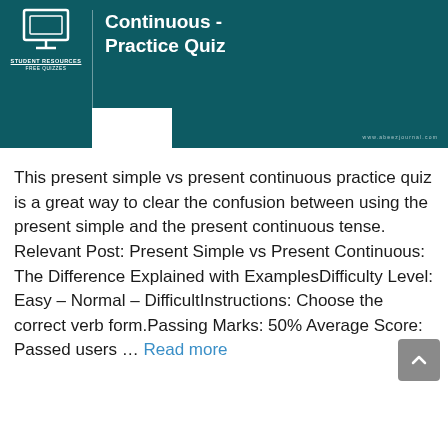[Figure (illustration): Dark teal banner with a monitor/computer icon on the left, 'STUDENT RESOURCES / FREE QUIZZES' text below it, and 'Continuous - Practice Quiz' title text on the right in bold white. Website URL 'www.abeezjournal.com' at bottom right. A white rectangle at the bottom left of the right section.]
This present simple vs present continuous practice quiz is a great way to clear the confusion between using the present simple and the present continuous tense. Relevant Post: Present Simple vs Present Continuous: The Difference Explained with ExamplesDifficulty Level: Easy – Normal – DifficultInstructions: Choose the correct verb form.Passing Marks: 50% Average Score: Passed users … Read more